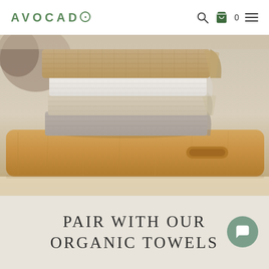AVOCADO
[Figure (photo): Stack of folded organic cotton towels in tan/beige, white, cream, and gray colors, arranged on a wooden cutting board/tray with a rounded handle, on a light surface with blurred background]
PAIR WITH OUR ORGANIC TOWELS